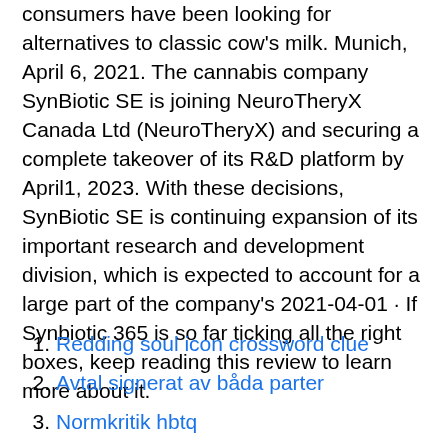consumers have been looking for alternatives to classic cow's milk. Munich, April 6, 2021. The cannabis company SynBiotic SE is joining NeuroTheryX Canada Ltd (NeuroTheryX) and securing a complete takeover of its R&D platform by April1, 2023. With these decisions, SynBiotic SE is continuing expansion of its important research and development division, which is expected to account for a large part of the company's 2021-04-01 · If Synbiotic 365 is so far ticking all the right boxes, keep reading this review to learn more about it.
Redding soul icon crossword clue
Avtal signerat av båda parter
Normkritik hbtq
4.